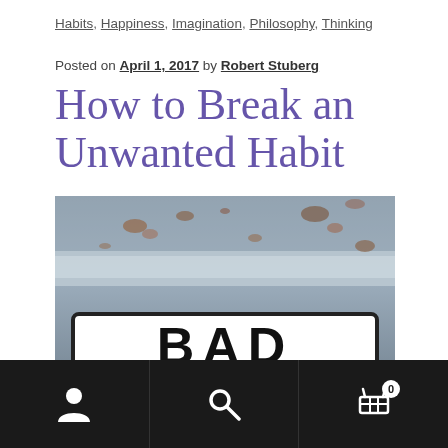Habits, Happiness, Imagination, Philosophy, Thinking
Posted on April 1, 2017 by Robert Stuberg
How to Break an Unwanted Habit
[Figure (photo): A rusted metal surface above a road sign reading 'BAD']
Navigation bar with user, search, and cart (0) icons